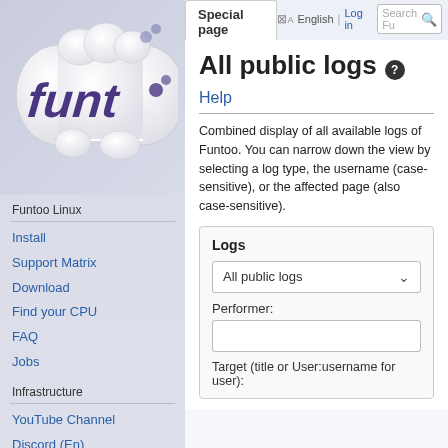[Figure (logo): Funtoo Linux logo — stylized purple 'funt' text on a bone/pill shaped white background with game controller elements]
Special page | English | Log in | Search Fu
All public logs
Combined display of all available logs of Funtoo. You can narrow down the view by selecting a log type, the username (case-sensitive), or the affected page (also case-sensitive).
Funtoo Linux
Install
Support Matrix
Download
Find your CPU
FAQ
Jobs
Infrastructure
YouTube Channel
Discord (En)
Telegram (En/Pt)
Report a Bug
| Logs |  |
| --- | --- |
| All public logs | ▾ |
| Performer: |  |
|  |  |
| Target (title or User:username for user): |  |